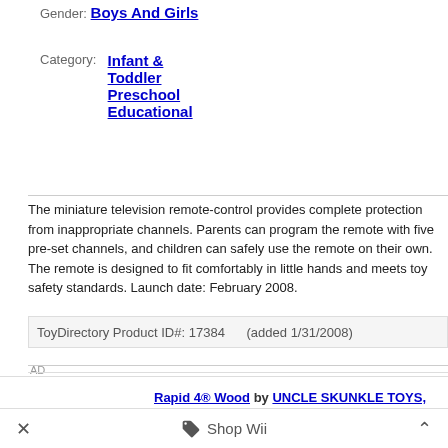Gender: Boys And Girls
Category: Infant & Toddler Preschool Educational
The miniature television remote-control provides complete protection from inappropriate channels. Parents can program the remote with five pre-set channels, and children can safely use the remote on their own. The remote is designed to fit comfortably in little hands and meets toy safety standards. Launch date: February 2008.
ToyDirectory Product ID#: 17384    (added 1/31/2008)
AD
Rapid 4® Wood by UNCLE SKUNKLE TOYS, INC.
Other products from UNCLE SKUNKLE TOYS, INC.
Shop for It!
Tweet
Shop Wii